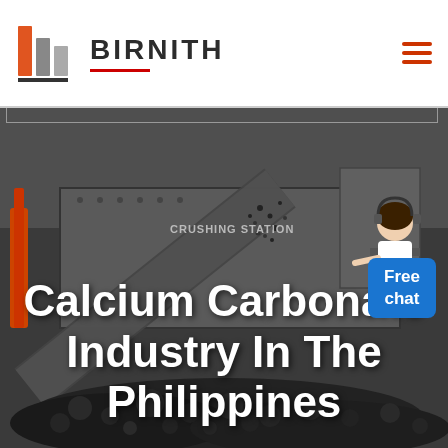BIRNITH
[Figure (photo): Industrial crushing station machinery with conveyor belt and large equipment processing dark aggregate/coal material, shown in dark monochrome tones. Text 'CRUSHING STATION' visible on machinery.]
Calcium Carbonate Industry In The Philippines